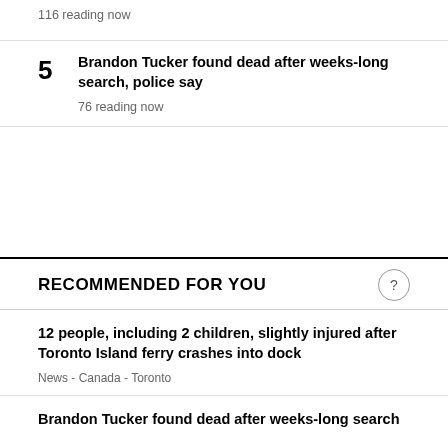116 reading now
5 Brandon Tucker found dead after weeks-long search, police say
76 reading now
RECOMMENDED FOR YOU
12 people, including 2 children, slightly injured after Toronto Island ferry crashes into dock
News - Canada - Toronto
Brandon Tucker found dead after weeks-long search